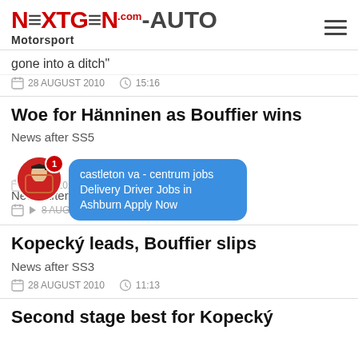NEXTGEN-AUTO.com Motorsport
gone into a ditch"
28 AUGUST 2010   15:16
Woe for Hänninen as Bouffier wins
News after SS5
[Figure (screenshot): Notification overlay with avatar of truck driver and blue bubble reading: castleton va - centrum jobs Delivery Driver Jobs in Ashburn Apply Now]
News after SS4
8 AUGUST 2010   12:14
Kopecký leads, Bouffier slips
News after SS3
28 AUGUST 2010   11:13
Second stage best for Kopecký